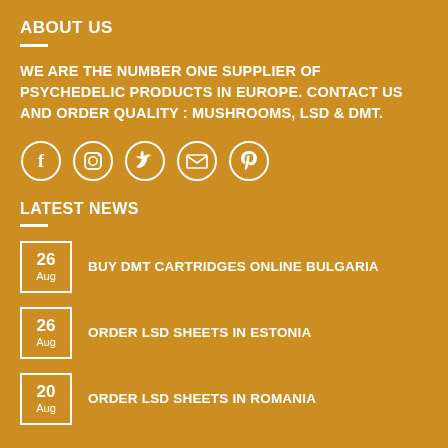ABOUT US
WE ARE THE NUMBER ONE SUPPLIER OF PSYCHEDELIC PRODUCTS IN EUROPE. CONTACT US AND ORDER QUALITY : MUSHROOMS, LSD & DMT.
[Figure (infographic): Row of 5 circular social media icons: Facebook, Instagram, Twitter, Email, Pinterest — white outline circles on golden background]
LATEST NEWS
26 Aug — BUY DMT CARTRIDGES ONLINE BULGARIA
26 Aug — ORDER LSD SHEETS IN ESTONIA
20 Aug — ORDER LSD SHEETS IN ROMANIA